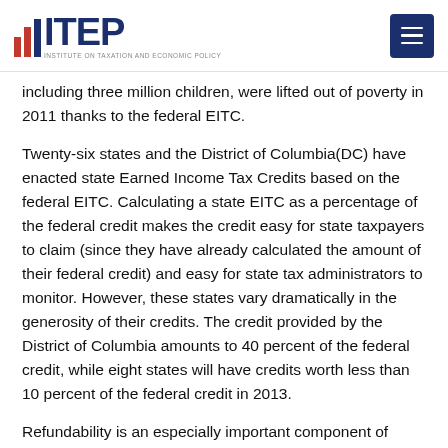ITEP — Institute on Taxation and Economic Policy
including three million children, were lifted out of poverty in 2011 thanks to the federal EITC.
Twenty-six states and the District of Columbia(DC) have enacted state Earned Income Tax Credits based on the federal EITC. Calculating a state EITC as a percentage of the federal credit makes the credit easy for state taxpayers to claim (since they have already calculated the amount of their federal credit) and easy for state tax administrators to monitor. However, these states vary dramatically in the generosity of their credits. The credit provided by the District of Columbia amounts to 40 percent of the federal credit, while eight states will have credits worth less than 10 percent of the federal credit in 2013.
Refundability is an especially important component of state EITCs or any targeted low-income tax credit to ensure